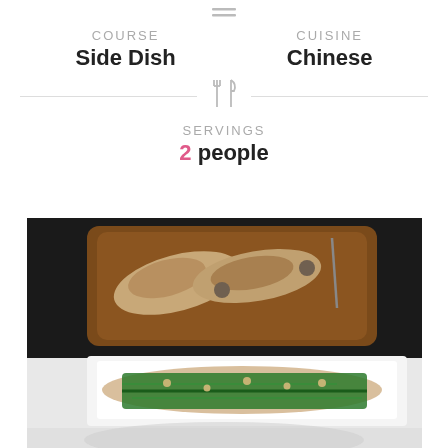[Figure (other): Small menu/lines icon at top center]
COURSE: Side Dish | CUISINE: Chinese
[Figure (other): Crossed fork and knife icon divider]
SERVINGS: 2 people
[Figure (photo): Photo of grilled fish on a wooden plate (top) and Chinese greens with garlic sauce on a white plate (bottom), with a third dish partially visible at the very bottom of the page.]